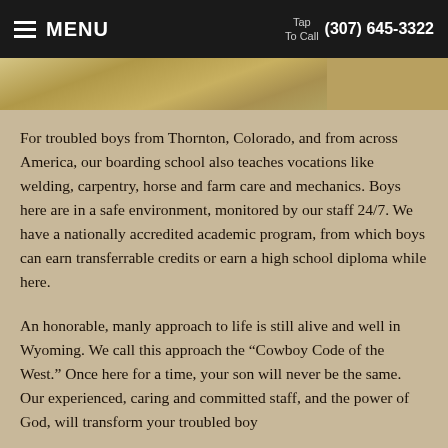MENU  Tap To Call  (307) 645-3322
[Figure (photo): Partial view of an outdoor landscape photo, cropped at top of page]
For troubled boys from Thornton, Colorado, and from across America, our boarding school also teaches vocations like welding, carpentry, horse and farm care and mechanics. Boys here are in a safe environment, monitored by our staff 24/7.  We have a nationally accredited academic program, from which boys can earn transferrable credits or earn a high school diploma while here.
An honorable, manly approach to life is still alive and well in Wyoming.  We call this approach the “Cowboy Code of the West.”  Once here for a time, your son will never be the same. Our experienced, caring and committed staff, and the power of God, will transform your troubled boy